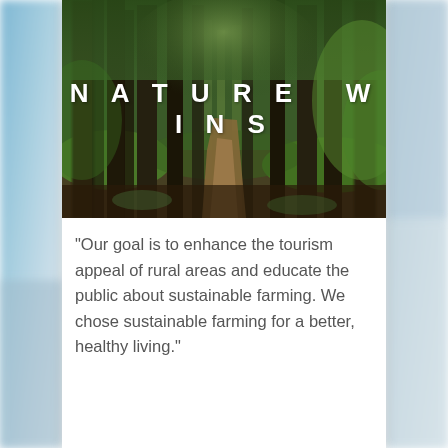[Figure (photo): A lush green forest with tall trees and a dirt path winding through the middle, with the text 'NATURE WINS' overlaid in large white bold spaced letters.]
"Our goal is to enhance the tourism appeal of rural areas and educate the public about sustainable farming. We chose sustainable farming for a better, healthy living."